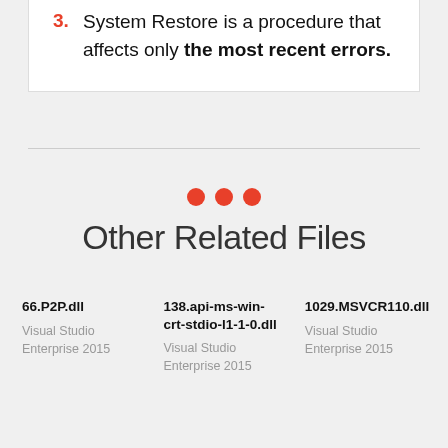3. System Restore is a procedure that affects only the most recent errors.
Other Related Files
66.P2P.dll
Visual Studio Enterprise 2015
138.api-ms-win-crt-stdio-l1-1-0.dll
Visual Studio Enterprise 2015
1029.MSVCR110.dll
Visual Studio Enterprise 2015